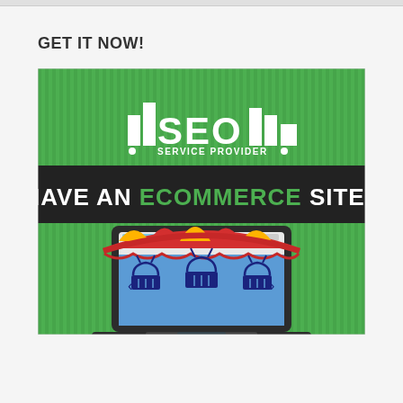GET IT NOW!
[Figure (infographic): SEO Service Provider infographic showing a laptop with a shop awning (red and yellow stripes) on its screen, shopping baskets icons on a blue background, on a green striped background. Text reads: 'SEO SERVICE PROVIDER' at top in white, and 'HAVE AN ECOMMERCE SITE?' in white and green bold text on a dark banner.]